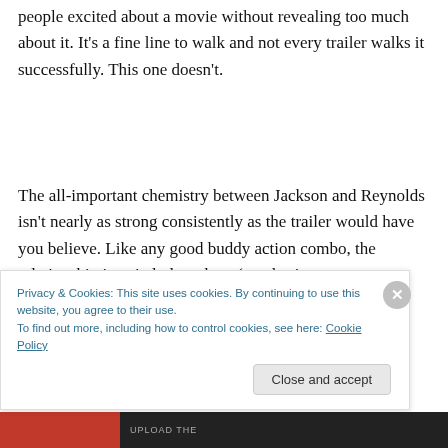people excited about a movie without revealing too much about it. It's a fine line to walk and not every trailer walks it successfully. This one doesn't.
The all-important chemistry between Jackson and Reynolds isn't nearly as strong consistently as the trailer would have you believe. Like any good buddy action combo, the relationship is strictly love-hate (emphasis on
Privacy & Cookies: This site uses cookies. By continuing to use this website, you agree to their use.
To find out more, including how to control cookies, see here: Cookie Policy